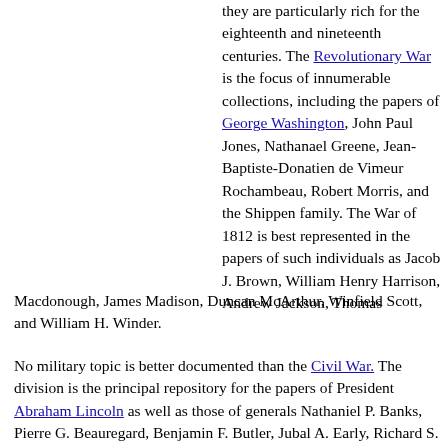they are particularly rich for the eighteenth and nineteenth centuries. The Revolutionary War is the focus of innumerable collections, including the papers of George Washington, John Paul Jones, Nathanael Greene, Jean-Baptiste-Donatien de Vimeur Rochambeau, Robert Morris, and the Shippen family. The War of 1812 is best represented in the papers of such individuals as Jacob J. Brown, William Henry Harrison, Andrew Jackson, Thomas Macdonough, James Madison, Duncan McArthur, Winfield Scott, and William H. Winder.
No military topic is better documented than the Civil War. The division is the principal repository for the papers of President Abraham Lincoln as well as those of generals Nathaniel P. Banks, Pierre G. Beauregard, Benjamin F. Butler, Jubal A. Early, Richard S. Ewell, Charles Ewing, William B. Franklin, James A. Garfield, Ulysses S. Grant, Samuel P. Heintzelman, Henry J. Hunt, Joseph W. Keifer, George B. McClellan, Montgomery C. Meigs, Carl